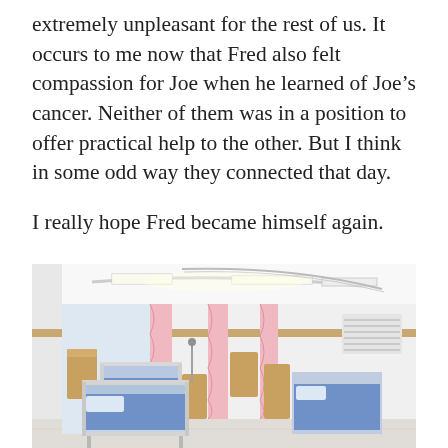extremely unpleasant for the rest of us. It occurs to me now that Fred also felt compassion for Joe when he learned of Joe's cancer. Neither of them was in a position to offer practical help to the other. But I think in some odd way they connected that day.

I really hope Fred became himself again.
[Figure (photo): A hospital ward room with multiple beds with blue mattresses, pink privacy curtains, wooden bedside tables, and bright white fluorescent lighting on the ceiling. The room is clean and modern.]